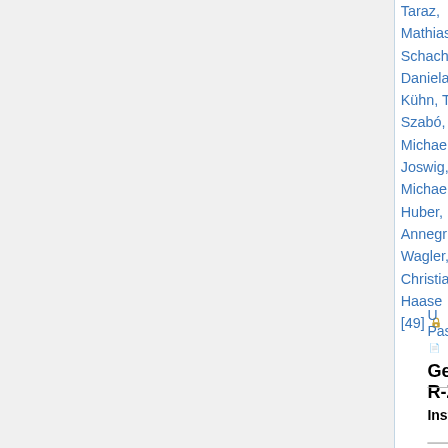Taraz, Mathias Schach, Daniela Kühn, T. Szabó, Michael Joswig, Michael Huber, Annegr Wagler, Christian Haase [49] 🔒
| Institution | Areas | Apply by | Short list / offers |
| --- | --- | --- | --- |
| U Passau 📄 | math (W2) | Nov 30, 2007 | Tobias Kaiser |
| U Regensburg | applied (W2) | 2008 | Helmut A... [51] Lor... |
Germany R-Z